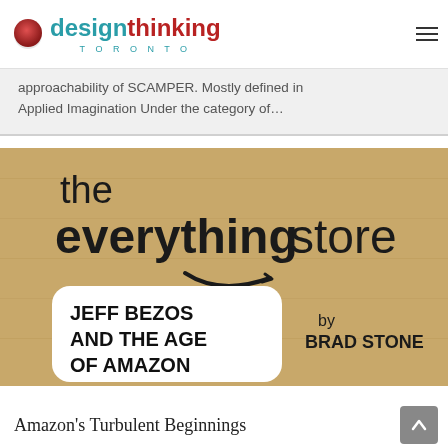design thinking TORONTO
approachability of SCAMPER. Mostly defined in Applied Imagination Under the category of…
[Figure (photo): Book cover of 'The Everything Store: Jeff Bezos and the Age of Amazon' by Brad Stone. Cardboard-textured background with Amazon smile logo, white rounded rectangle inset with bold black text showing author and subtitle.]
Amazon's Turbulent Beginnings